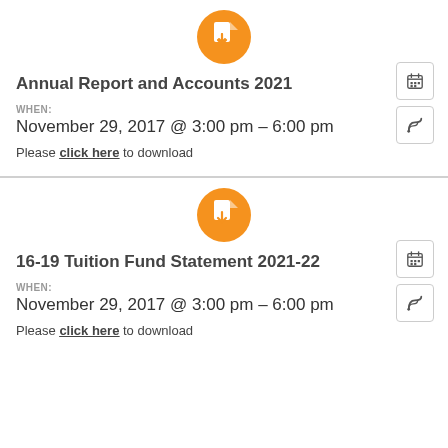[Figure (illustration): Orange circle with white document/download icon]
Annual Report and Accounts 2021
WHEN:
November 29, 2017 @ 3:00 pm – 6:00 pm
Please click here to download
[Figure (illustration): Orange circle with white document/download icon]
16-19 Tuition Fund Statement 2021-22
WHEN:
November 29, 2017 @ 3:00 pm – 6:00 pm
Please click here to download